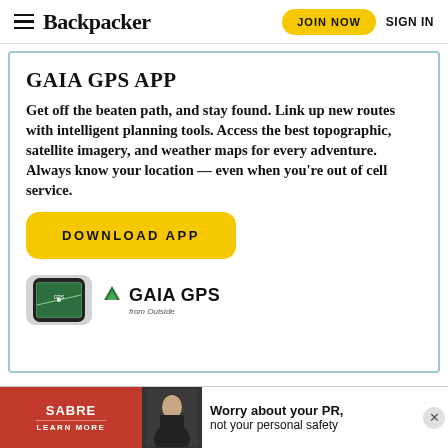Backpacker — JOIN NOW  SIGN IN
GAIA GPS APP
Get off the beaten path, and stay found. Link up new routes with intelligent planning tools. Access the best topographic, satellite imagery, and weather maps for every adventure. Always know your location — even when you're out of cell service.
DOWNLOAD APP
[Figure (logo): Gaia GPS from Outside logo with phone screenshot]
[Figure (infographic): Sabre ad banner: Worry about your PR, not your personal safety — Learn More]